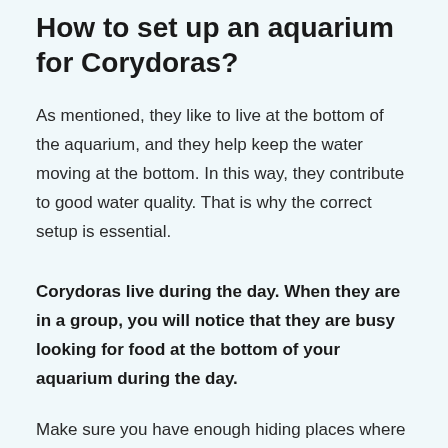How to set up an aquarium for Corydoras?
As mentioned, they like to live at the bottom of the aquarium, and they help keep the water moving at the bottom. In this way, they contribute to good water quality. That is why the correct setup is essential.
Corydoras live during the day. When they are in a group, you will notice that they are busy looking for food at the bottom of your aquarium during the day.
Make sure you have enough hiding places where they can